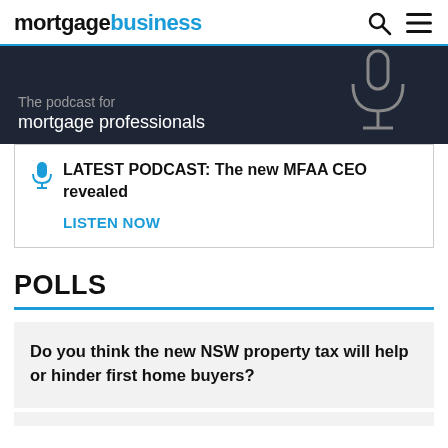mortgagebusiness
[Figure (illustration): Dark navy podcast banner showing partial text 'The podcast for mortgage professionals' with a microphone graphic on the right side]
LATEST PODCAST: The new MFAA CEO revealed
LISTEN NOW
POLLS
Do you think the new NSW property tax will help or hinder first home buyers?